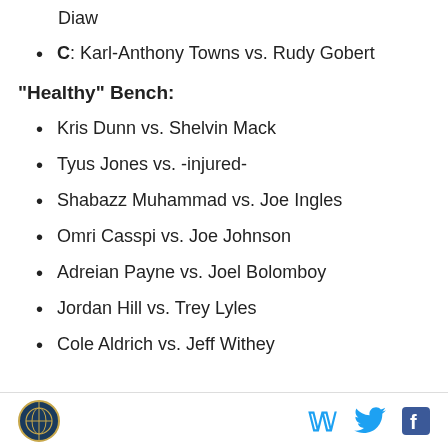Diaw
C: Karl-Anthony Towns vs. Rudy Gobert
"Healthy" Bench:
Kris Dunn vs. Shelvin Mack
Tyus Jones vs. -injured-
Shabazz Muhammad vs. Joe Ingles
Omri Casspi vs. Joe Johnson
Adreian Payne vs. Joel Bolomboy
Jordan Hill vs. Trey Lyles
Cole Aldrich vs. Jeff Withey
Logo | Twitter | Facebook